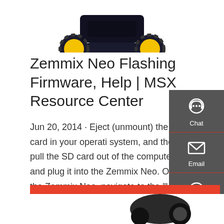[Figure (photo): Partial view of a robot/vehicle with yellow wheels on dark body, shown from above/behind against white background.]
Zemmix Neo Flashing Firmware, Help | MSX Resource Center
Jun 20, 2014 · Eject (unmount) the SD card in your operating system, and then pull the SD card out of the computer and plug it into the Zemmix Neo. On the Zemmix Neo, navigate to the "kdl" directory (cd kdl) and enter the command pldflash emsx_top.pld. Now the firmware will flash and show progress while it …
[Figure (infographic): Dark grey sidebar panel with Chat (headset icon), Email (envelope icon), and Contact (speech bubble icon) buttons.]
Get a quote
[Figure (photo): Partial view of another robot/device partially visible at bottom of page.]